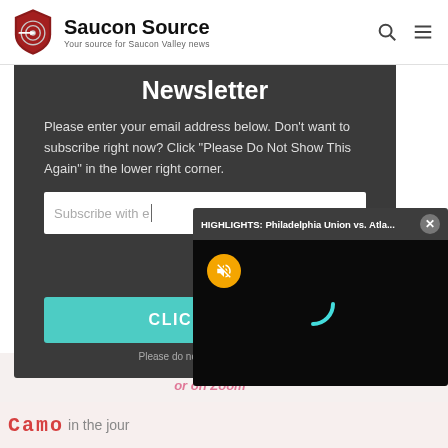[Figure (logo): Saucon Source logo — red shield with target/crosshair icon, bold text 'Saucon Source' and subtitle 'Your source for Saucon Valley news', with search and hamburger menu icons on the right]
Newsletter
Please enter your email address below. Don't want to subscribe right now? Click "Please Do Not Show This Again" in the lower right corner.
Subscribe with e
CLICK HERE
Please do not show this again
[Figure (screenshot): Video popup overlay with header 'HIGHLIGHTS: Philadelphia Union vs. Atla...' and a close button, showing a black video player screen with a muted (yellow) button and a loading spinner arc]
in the sanctuary or on Zoom